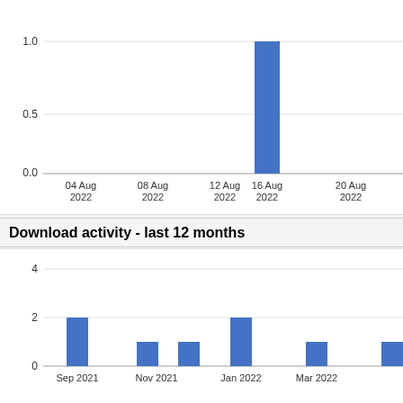[Figure (bar-chart): Download activity - last month]
Download activity - last 12 months
[Figure (bar-chart): Download activity - last 12 months]